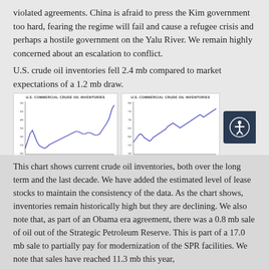violated agreements. China is afraid to press the Kim government too hard, fearing the regime will fail and cause a refugee crisis and perhaps a hostile government on the Yalu River. We remain highly concerned about an escalation to conflict.
U.S. crude oil inventories fell 2.4 mb compared to market expectations of a 1.2 mb draw.
[Figure (continuous-plot): Two line charts side by side showing U.S. Commercial Crude Oil Inventories. Left chart shows long-term history (approx 1920s–2017), right chart shows last decade (approx 07–17). Both show blue line charts with inventories in millions of barrels. Sources: EIA/CIM and DOE/CIM respectively.]
This chart shows current crude oil inventories, both over the long term and the last decade. We have added the estimated level of lease stocks to maintain the consistency of the data. As the chart shows, inventories remain historically high but they are declining. We also note that, as part of an Obama era agreement, there was a 0.8 mb sale of oil out of the Strategic Petroleum Reserve. This is part of a 17.0 mb sale to partially pay for modernization of the SPR facilities. We note that sales have reached 11.3 mb this year,